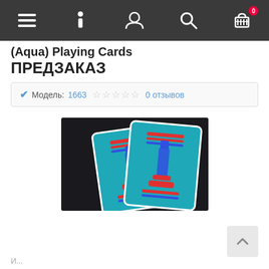Navigation bar with menu, info, account, search, and cart (0) icons
(Aqua) Playing Cards ПРЕДЗАКАЗ
Модель: 1663  ☆☆☆☆☆  0 отзывов
[Figure (photo): Photo of two blue playing card decks with red and blue graphic design on the back, placed on a dark surface]
И...